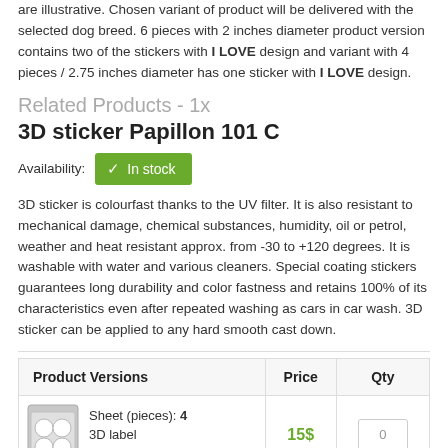are illustrative. Chosen variant of product will be delivered with the selected dog breed. 6 pieces with 2 inches diameter product version contains two of the stickers with I LOVE design and variant with 4 pieces / 2.75 inches diameter has one sticker with I LOVE design.
Related Products - 1x
3D sticker Papillon 101 C
Availability: ✓ In stock
3D sticker is colourfast thanks to the UV filter. It is also resistant to mechanical damage, chemical substances, humidity, oil or petrol, weather and heat resistant approx. from -30 to +120 degrees. It is washable with water and various cleaners. Special coating stickers guarantees long durability and color fastness and retains 100% of its characteristics even after repeated washing as cars in car wash. 3D sticker can be applied to any hard smooth cast down.
| Product Versions | Price | Qty |
| --- | --- | --- |
| Sheet (pieces): 4
3D label
diameter: 2.75 in | 15$ | 0 |